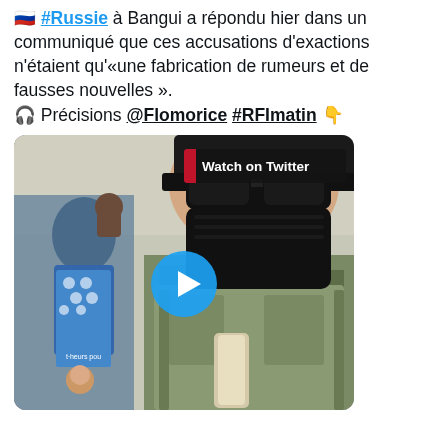🇷🇺 #Russie à Bangui a répondu hier dans un communiqué que ces accusations d'exactions n'étaient qu'«une fabrication de rumeurs et de fausses nouvelles ». 🎧 Précisions @Flomorice #RFImatin 👇
[Figure (screenshot): Video thumbnail showing a person in military camouflage gear wearing a black face mask and sunglasses, with a crowd scene in the background. A blue play button is centered on the image and a 'Watch on Twitter' badge appears in the upper right.]